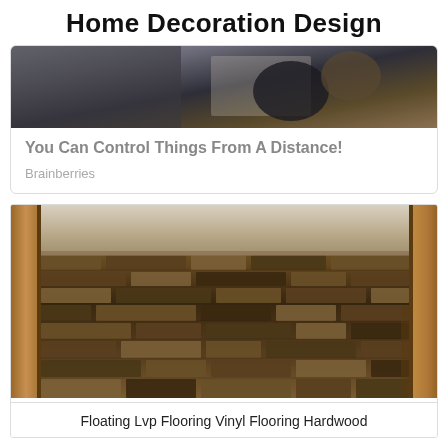Home Decoration Design
[Figure (photo): Person sitting in a dark room, advertisement image for Brainberries]
You Can Control Things From A Distance!
Brainberries
[Figure (photo): Floating LVP flooring vinyl flooring hardwood — dark wood-look planks installed in a hallway with wooden door frames]
Floating Lvp Flooring Vinyl Flooring Hardwood